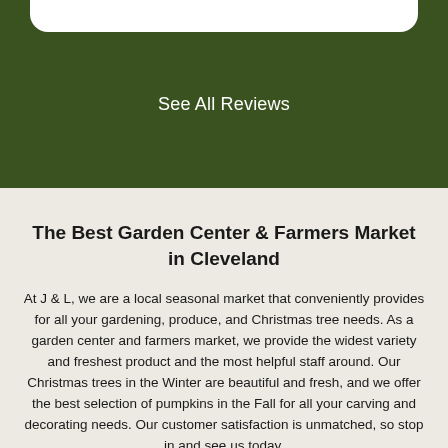See All Reviews
The Best Garden Center & Farmers Market in Cleveland
At J & L, we are a local seasonal market that conveniently provides for all your gardening, produce, and Christmas tree needs. As a garden center and farmers market, we provide the widest variety and freshest product and the most helpful staff around. Our Christmas trees in the Winter are beautiful and fresh, and we offer the best selection of pumpkins in the Fall for all your carving and decorating needs. Our customer satisfaction is unmatched, so stop in and see us today.